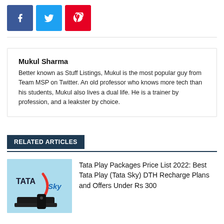[Figure (other): Social media share buttons: Facebook (blue), Twitter (light blue), Pinterest (red)]
Mukul Sharma
Better known as Stuff Listings, Mukul is the most popular guy from Team MSP on Twitter. An old professor who knows more tech than his students, Mukul also lives a dual life. He is a trainer by profession, and a leakster by choice.
RELATED ARTICLES
[Figure (photo): Tata Sky logo with a set-top box on a light blue background]
Tata Play Packages Price List 2022: Best Tata Play (Tata Sky) DTH Recharge Plans and Offers Under Rs 300